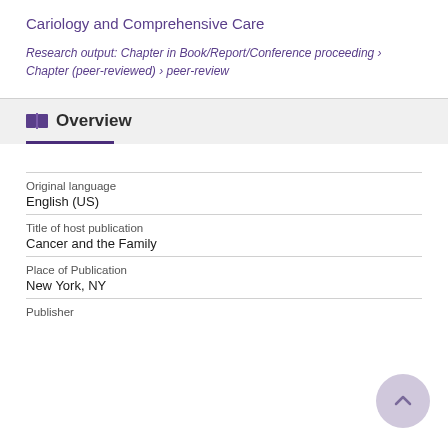Cariology and Comprehensive Care
Research output: Chapter in Book/Report/Conference proceeding › Chapter (peer-reviewed) › peer-review
Overview
| Field | Value |
| --- | --- |
| Original language | English (US) |
| Title of host publication | Cancer and the Family |
| Place of Publication | New York, NY |
| Publisher |  |